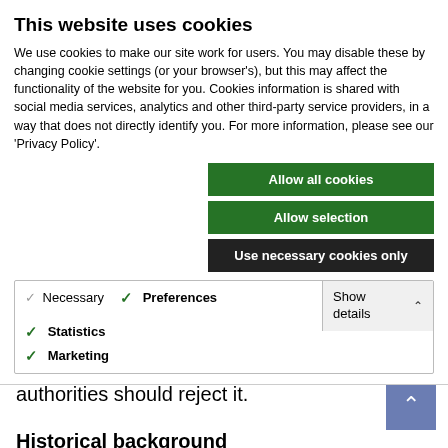This website uses cookies
We use cookies to make our site work for users. You may disable these by changing cookie settings (or your browser's), but this may affect the functionality of the website for you. Cookies information is shared with social media services, analytics and other third-party service providers, in a way that does not directly identify you. For more information, please see our 'Privacy Policy'.
Allow all cookies
Allow selection
Use necessary cookies only
Necessary  Preferences  Statistics  Marketing  Show details
they scan a QR code of a specific product. On-line labelling for the alcohol products has a lot of unintended consequences. Public authorities should reject it.
Historical background